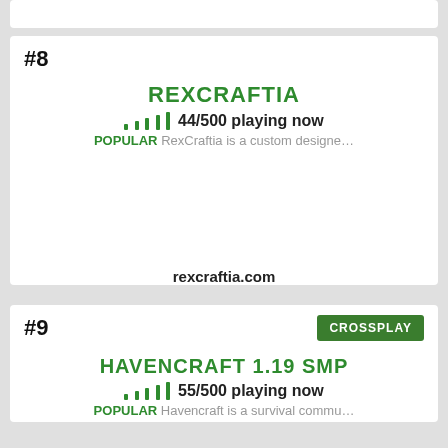#8
REXCRAFTIA
44/500 playing now
POPULAR RexCraftia is a custom designe...
rexcraftia.com
#9
HAVENCRAFT 1.19 SMP
55/500 playing now
POPULAR Havencraft is a survival commu...